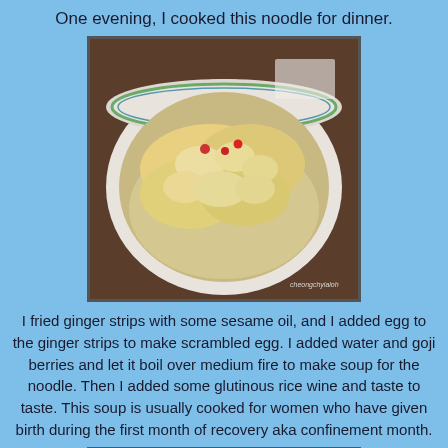One evening, I cooked this noodle for dinner.
[Figure (photo): A bowl of noodle soup with scrambled egg, goji berries, and broth, served in a white bowl with floral pattern.]
I fried ginger strips with some sesame oil, and I added egg to the ginger strips to make scrambled egg. I added water and goji berries and let it boil over medium fire to make soup for the noodle. Then I added some glutinous rice wine and taste to taste. This soup is usually cooked for women who have given birth during the first month of recovery aka confinement month.
[Figure (photo): A bowl of cooked vegetables with dried shrimp or minced meat topping.]